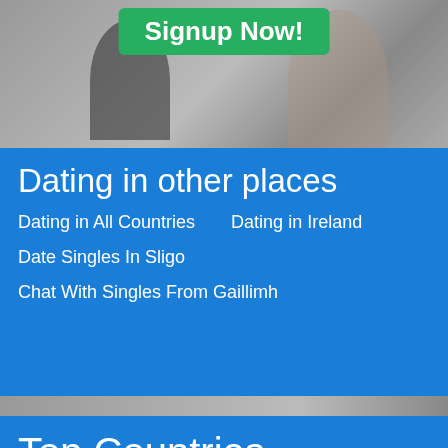[Figure (photo): Background photo of two men, one looking down and one older man smiling, in grayscale with a green 'Signup Now!' button overlay]
Dating in other places
Dating in All Countries
Dating in Ireland
Date Singles In Sligo
Chat With Singles From Gaillimh
Top Countries
India
United Arab Emirates
United States
Philippines
Kenya
South Africa
France
Bangladesh
Saudi Arabia
United States Of America